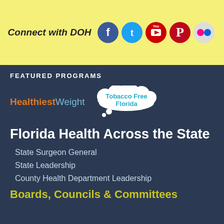[Figure (infographic): Yellow banner with 'Connect with DOH' text and social media icons: Facebook, Twitter, YouTube, Pinterest, Flickr]
FEATURED PROGRAMS
[Figure (logo): Healthiest Weight logo in orange and light blue, and Tobacco Free Florida cloud bubble logo in teal/cyan]
Florida Health Across the State
State Surgeon General
State Leadership
County Health Department Leadership
Boards, Councils & Committees